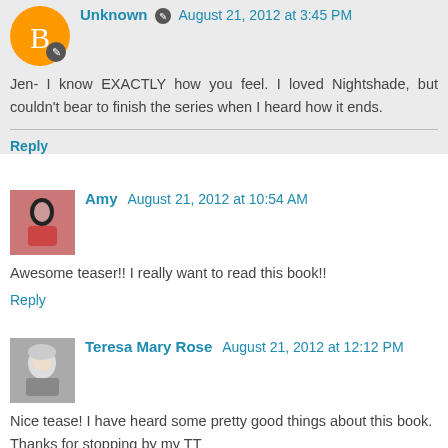Unknown August 21, 2012 at 3:45 PM
Jen- I know EXACTLY how you feel. I loved Nightshade, but couldn't bear to finish the series when I heard how it ends.
Reply
Amy August 21, 2012 at 10:54 AM
Awesome teaser!! I really want to read this book!!
Reply
Teresa Mary Rose August 21, 2012 at 12:12 PM
Nice tease! I have heard some pretty good things about this book. Thanks for stopping by my TT
Reply
A Belle's Tales August 21, 2012 at 12:15 PM